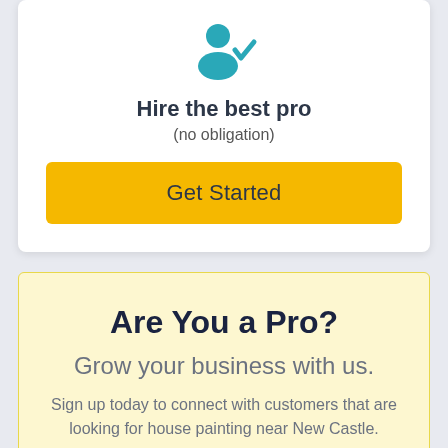[Figure (illustration): Teal person silhouette icon with a checkmark, representing a verified professional]
Hire the best pro
(no obligation)
Get Started
Are You a Pro?
Grow your business with us.
Sign up today to connect with customers that are looking for house painting near New Castle.